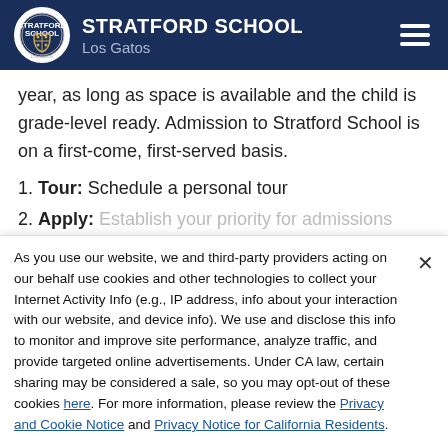STRATFORD SCHOOL Los Gatos
year, as long as space is available and the child is grade-level ready. Admission to Stratford School is on a first-come, first-served basis.
1. Tour: Schedule a personal tour
2. Apply: Establish your priority for admissions
As you use our website, we and third-party providers acting on our behalf use cookies and other technologies to collect your Internet Activity Info (e.g., IP address, info about your interaction with our website, and device info). We use and disclose this info to monitor and improve site performance, analyze traffic, and provide targeted online advertisements. Under CA law, certain sharing may be considered a sale, so you may opt-out of these cookies here. For more information, please review the Privacy and Cookie Notice and Privacy Notice for California Residents.